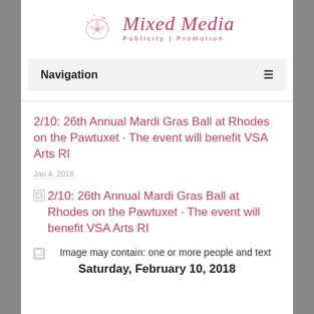[Figure (logo): Mixed Media Publicity | Promotion logo with decorative floral/swirl icon on left and stylized italic text on right]
Navigation
2/10: 26th Annual Mardi Gras Ball at Rhodes on the Pawtuxet · The event will benefit VSA Arts RI
Jan 4, 2018
[Figure (photo): Broken image placeholder link: 2/10: 26th Annual Mardi Gras Ball at Rhodes on the Pawtuxet · The event will benefit VSA Arts RI]
Image may contain: one or more people and text
Saturday, February 10, 2018